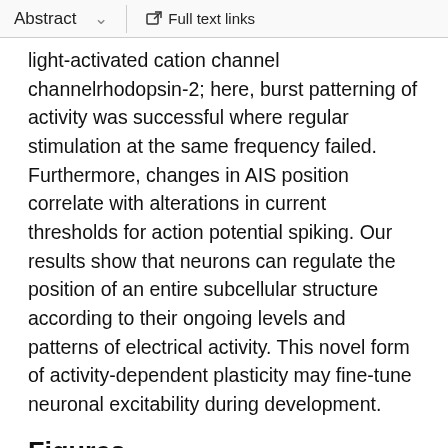Abstract   ✓   Full text links
light-activated cation channel channelrhodopsin-2; here, burst patterning of activity was successful where regular stimulation at the same frequency failed. Furthermore, changes in AIS position correlate with alterations in current thresholds for action potential spiking. Our results show that neurons can regulate the position of an entire subcellular structure according to their ongoing levels and patterns of electrical activity. This novel form of activity-dependent plasticity may fine-tune neuronal excitability during development.
Figures
[Figure (illustration): Thumbnail figure showing fluorescence microscopy images and electrophysiology traces related to AIS changes]
Figure 1. Activity-dependent changes in AIS